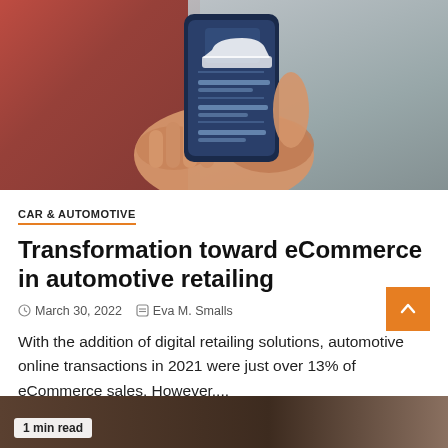[Figure (photo): A hand holding a smartphone displaying a car inspection or vehicle detail app with a blue interface showing a white car icon and text fields, set against a red and grey building background (automotive dealership).]
CAR & AUTOMOTIVE
Transformation toward eCommerce in automotive retailing
March 30, 2022   Eva M. Smalls
With the addition of digital retailing solutions, automotive online transactions in 2021 were just over 13% of eCommerce sales. However,...
[Figure (photo): Bottom partial preview of another article card showing a brown/dark interior background with a '1 min read' badge in the lower left.]